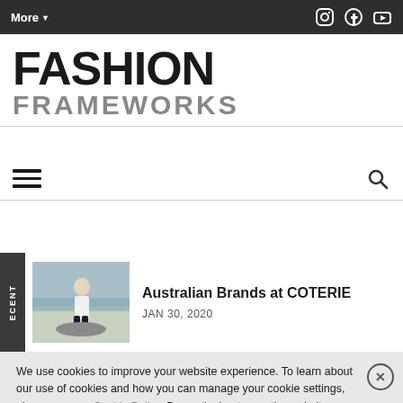More▼  [Instagram] [Facebook] [YouTube]
FASHION FRAMEWORKS
[hamburger menu] [search icon]
[Figure (photo): Thumbnail photo of a woman sitting on a rock by the beach wearing a white top and dark pants]
Australian Brands at COTERIE
JAN 30, 2020
We use cookies to improve your website experience. To learn about our use of cookies and how you can manage your cookie settings, please see our Cookie Policy. By continuing to use the website, you consent to our use of cookies.